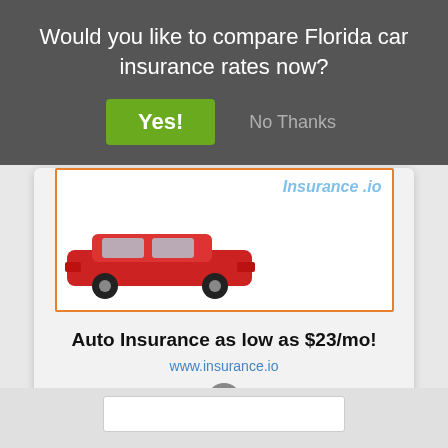Would you like to compare Florida car insurance rates now?
Yes!
No Thanks
[Figure (screenshot): Ad image showing a red sports car with insurance text overlay and orange border]
Auto Insurance as low as $23/mo!
www.insurance.io
View My Quote
COMPARE RATES